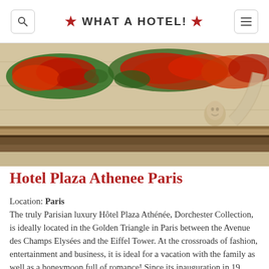★ WHAT A HOTEL! ★
[Figure (photo): Hotel Plaza Athenee Paris facade with red flowers on balcony and stone architectural details]
Hotel Plaza Athenee Paris
Location: Paris
The truly Parisian luxury Hôtel Plaza Athénée, Dorchester Collection, is ideally located in the Golden Triangle in Paris between the Avenue des Champs Elysées and the Eiffel Tower. At the crossroads of fashion, entertainment and business, it is ideal for a vacation with the family as well as a honeymoon full of romance! Since its inauguration in 19
Read More »